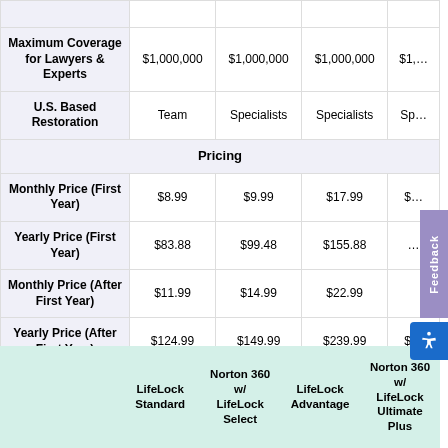|  | LifeLock Standard | Norton 360 w/ LifeLock Select | LifeLock Advantage | Norton 360 w/ LifeLock Ultimate Plus |
| --- | --- | --- | --- | --- |
| Maximum Coverage for Lawyers & Experts | $1,000,000 | $1,000,000 | $1,000,000 | $1,… |
| U.S. Based Restoration | Team | Specialists | Specialists | Sp… |
| Pricing |  |  |  |  |
| Monthly Price (First Year) | $8.99 | $9.99 | $17.99 | $… |
| Yearly Price (First Year) | $83.88 | $99.48 | $155.88 | … |
| Monthly Price (After First Year) | $11.99 | $14.99 | $22.99 |  |
| Yearly Price (After First Year) | $124.99 | $149.99 | $239.99 | $… |
|  | LifeLock Standard | Norton 360 w/ LifeLock Select | LifeLock Advantage | Norton 360 w/ LifeLock Ultimate Plus |
| --- | --- | --- | --- | --- |